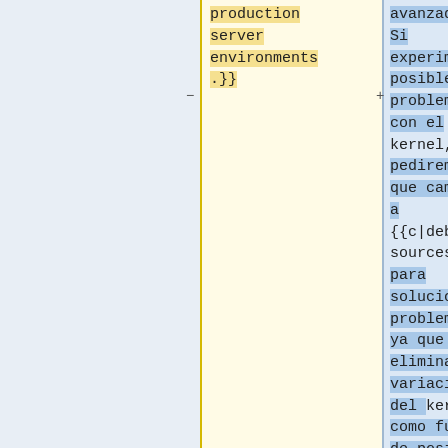production server environments .}}
avanzados. Si experimenta posibles problemas con el kernel, le pediremos que cambie a {{c|debian-sources}} para solucionar problemas, ya que esto elimina la variación del kernel como fuente de posibles problemas.}}